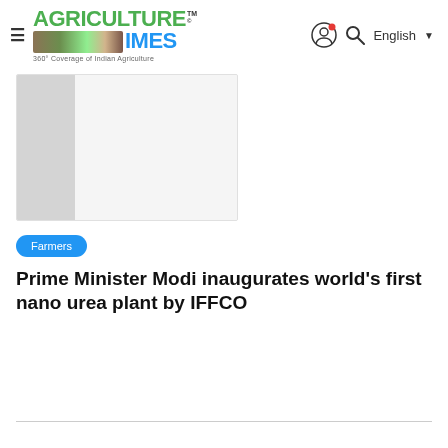Agriculture Times — 360° Coverage of Indian Agriculture
[Figure (photo): Article thumbnail image placeholder with light gray background, partial darker gray section on left side]
Farmers
Prime Minister Modi inaugurates world's first nano urea plant by IFFCO